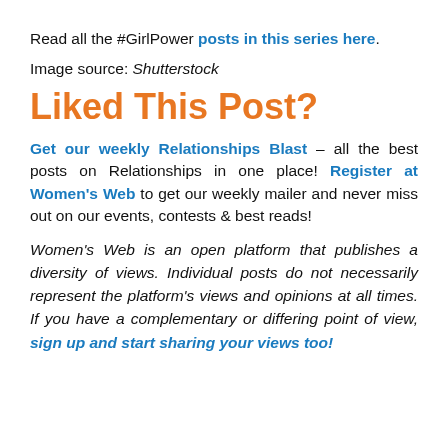Read all the #GirlPower posts in this series here.
Image source: Shutterstock
Liked This Post?
Get our weekly Relationships Blast – all the best posts on Relationships in one place! Register at Women's Web to get our weekly mailer and never miss out on our events, contests & best reads!
Women's Web is an open platform that publishes a diversity of views. Individual posts do not necessarily represent the platform's views and opinions at all times. If you have a complementary or differing point of view, sign up and start sharing your views too!